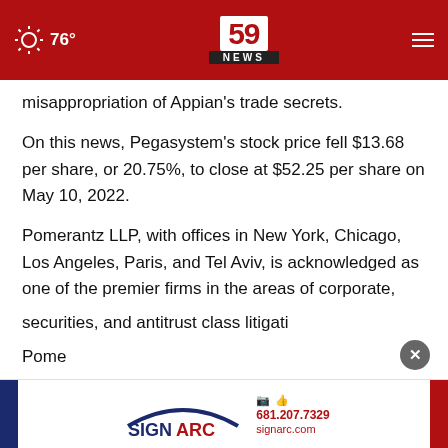76° | 59 NEWS
misappropriation of Appian's trade secrets.
On this news, Pegasystem's stock price fell $13.68 per share, or 20.75%, to close at $52.25 per share on May 10, 2022.
Pomerantz LLP, with offices in New York, Chicago, Los Angeles, Paris, and Tel Aviv, is acknowledged as one of the premier firms in the areas of corporate, securities, and antitrust class litigati...
Pome...
[Figure (logo): SignArc advertisement banner with logo, phone number 681.207.7329 and website signarc.com]